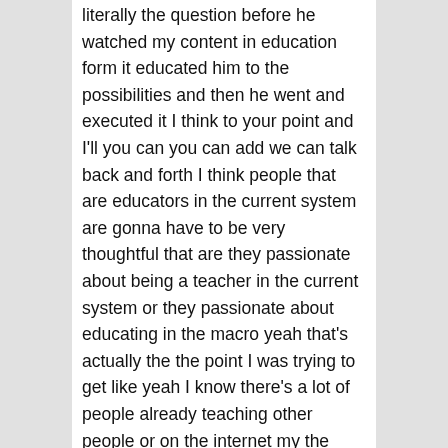literally the question before he watched my content in education form it educated him to the possibilities and then he went and executed it I think to your point and I'll you can you can add we can talk back and forth I think people that are educators in the current system are gonna have to be very thoughtful that are they passionate about being a teacher in the current system or they passionate about educating in the macro yeah that's actually the the point I was trying to get like yeah I know there's a lot of people already teaching other people or on the internet my the thing I was thinking is that my idea of future the thing I want to do in my future is teaching people online specific languages but you can do that now yeah I know but do you my question is do you think teaching is gonna go entirely to the Internet do you think I think society is gonna go predominantly to the Internet will still live in real life but there's a very significant chance in 30 40 50 years that all of us are living in virtual reality and are spending a lot of time in that world no different than the eleven hours we spend inside our of our phone now yes I do like ready player one the movie yeah